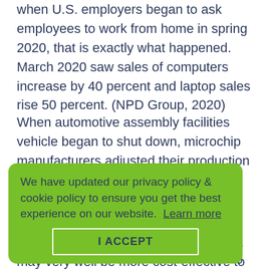when U.S. employers began to ask employees to work from home in spring 2020, that is exactly what happened. March 2020 saw sales of computers increase by 40 percent and laptop sales rise 50 percent. (NPD Group, 2020)
When automotive assembly facilities vehicle began to shut down, microchip manufacturers adjusted their production to meet demand in other industries. As the automotive industry came back online, chip manufacturers responded to the influx of demand, which created chip shortages for [text obscured] including [text obscured] laptops, desktops, and monitors [text obscured] triple what they used to be.
[Figure (other): Cookie/privacy policy consent banner overlay with green background, text reading 'We have updated our privacy policy & cookie policy to ensure you get the best experience on our website. Learn more' and an 'I ACCEPT' button.]
With so much supply chain pressure, it may very well be more cost-effective to update your old IT assets instead of